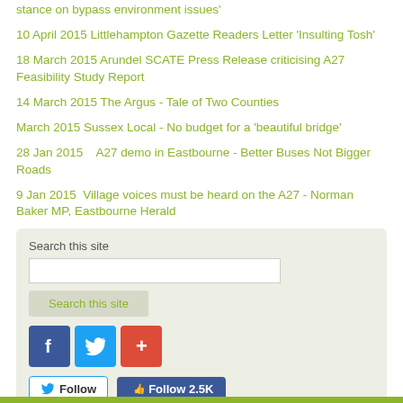stance on bypass environment issues'
10 April 2015 Littlehampton Gazette Readers Letter 'Insulting Tosh'
18 March 2015 Arundel SCATE Press Release criticising A27 Feasibility Study Report
14 March 2015 The Argus - Tale of Two Counties
March 2015 Sussex Local - No budget for a 'beautiful bridge'
28 Jan 2015    A27 demo in Eastbourne - Better Buses Not Bigger Roads
9 Jan 2015  Village voices must be heard on the A27 - Norman Baker MP, Eastbourne Herald
Search this site
[Figure (screenshot): Search box widget with 'Search this site' label, text input field, search button, social media icons (Facebook, Twitter, Google+), and follow buttons for Twitter and Facebook (Follow 2.5K)]